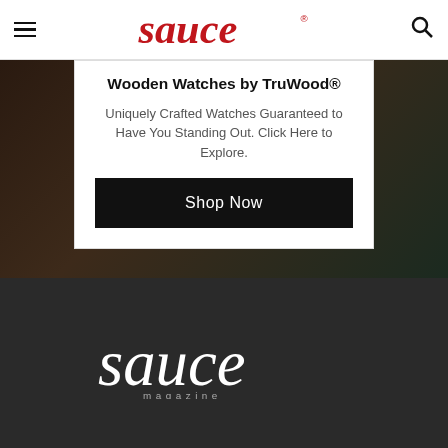sauce magazine — navigation header with hamburger menu and search icon
[Figure (screenshot): Advertisement for TruWood wooden watches with dark wood background, white card overlay showing 'Wooden Watches by TruWood®', descriptive text, and a black 'Shop Now' button]
[Figure (logo): Sauce Magazine logo in white serif script lettering with 'magazine' in spaced caps beneath, on dark charcoal background footer]